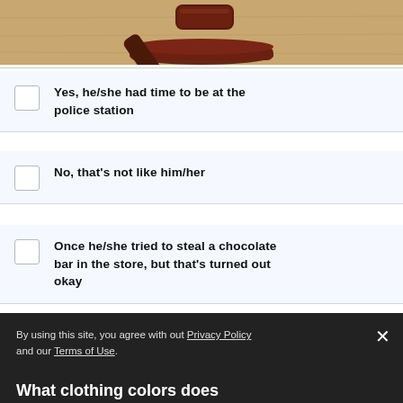[Figure (photo): Photo of a judge's gavel on a wooden surface, cropped at top of page]
Yes, he/she had time to be at the police station
No, that's not like him/her
Once he/she tried to steal a chocolate bar in the store, but that's turned out okay
By using this site, you agree with out Privacy Policy and our Terms of Use.